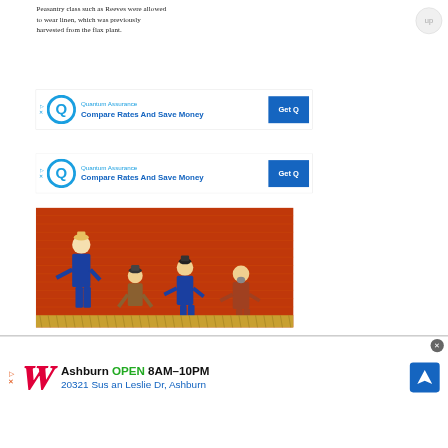Peasantry class such as Reeves were allowed to wear linen, which was previously harvested from the flax plant.
[Figure (screenshot): Quantum Assurance advertisement: Compare Rates And Save Money, with Get Quote button (first)]
[Figure (screenshot): Quantum Assurance advertisement: Compare Rates And Save Money, with Get Quote button (second)]
[Figure (illustration): Medieval illustration showing peasants working in a field with red brick-patterned background; figures wearing blue medieval clothing]
[Figure (screenshot): Walgreens bottom banner ad: Ashburn OPEN 8AM–10PM, 20321 Susan Leslie Dr, Ashburn]